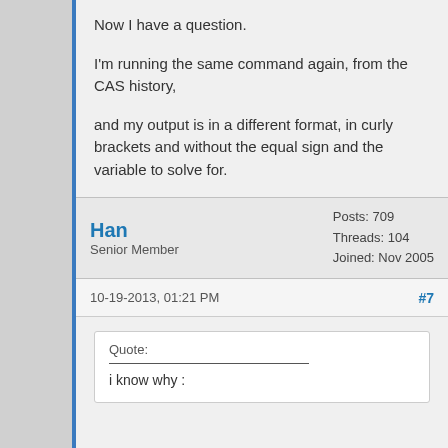Now I have a question.
I'm running the same command again, from the CAS history,
and my output is in a different format, in curly brackets and without the equal sign and the variable to solve for.
{(1/r)*u}
I didn't change any flag settings (that I'm aware of). ????
Han
Senior Member
Posts: 709
Threads: 104
Joined: Nov 2005
10-19-2013, 01:21 PM
#7
Quote:
i know why :